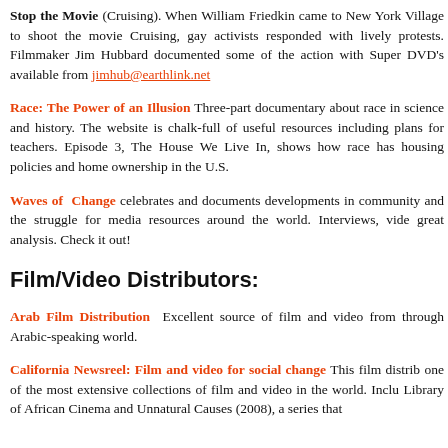Stop the Movie (Cruising). When William Friedkin came to New York Village to shoot the movie Cruising, gay activists responded with lively protests. Filmmaker Jim Hubbard documented some of the action with Super DVD's available from jimhub@earthlink.net
Race: The Power of an Illusion Three-part documentary about race in science and history. The website is chalk-full of useful resources including plans for teachers. Episode 3, The House We Live In, shows how race has housing policies and home ownership in the U.S.
Waves of Change celebrates and documents developments in community and the struggle for media resources around the world. Interviews, vide great analysis. Check it out!
Film/Video Distributors:
Arab Film Distribution Excellent source of film and video from through Arabic-speaking world.
California Newsreel: Film and video for social change This film distrib one of the most extensive collections of film and video in the world. Inclu Library of African Cinema and Unnatural Causes (2008), a series that